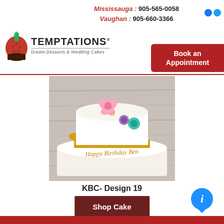Mississauga : 905-565-0058
Vaughan : 905-660-3366
[Figure (logo): Temptations logo with strawberry icon, brand name TEMPTATIONS, tagline Dream Desserts & Wedding Cakes]
Book an Appointment
[Figure (photo): Close-up photo of a birthday cake with white fondant, gold ribbon, colorful flowers, and 'Happy Birthday Ben' inscription on a rustic wood board backdrop]
KBC- Design 19
Shop Cake